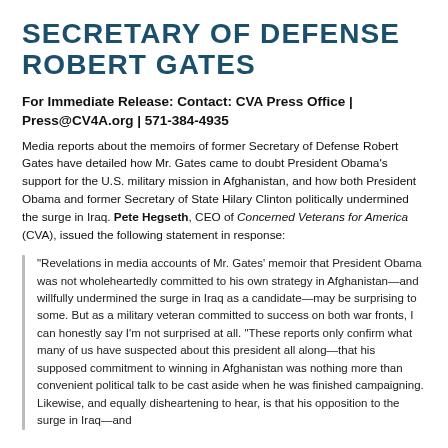SECRETARY OF DEFENSE ROBERT GATES
For Immediate Release: Contact: CVA Press Office | Press@CV4A.org | 571-384-4935
Media reports about the memoirs of former Secretary of Defense Robert Gates have detailed how Mr. Gates came to doubt President Obama's support for the U.S. military mission in Afghanistan, and how both President Obama and former Secretary of State Hilary Clinton politically undermined the surge in Iraq. Pete Hegseth, CEO of Concerned Veterans for America (CVA), issued the following statement in response:
“Revelations in media accounts of Mr. Gates’ memoir that President Obama was not wholeheartedly committed to his own strategy in Afghanistan—and willfully undermined the surge in Iraq as a candidate—may be surprising to some. But as a military veteran committed to success on both war fronts, I can honestly say I’m not surprised at all. “These reports only confirm what many of us have suspected about this president all along—that his supposed commitment to winning in Afghanistan was nothing more than convenient political talk to be cast aside when he was finished campaigning. Likewise, and equally disheartening to hear, is that his opposition to the surge in Iraq—and